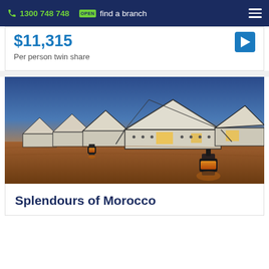1300 748 748  find a branch
$11,315
Per person twin share
[Figure (photo): Desert camp scene at dusk showing traditional Moroccan-style white tents with black framework, lanterns lit in sandy foreground, warm golden light against blue twilight sky]
Splendours of Morocco